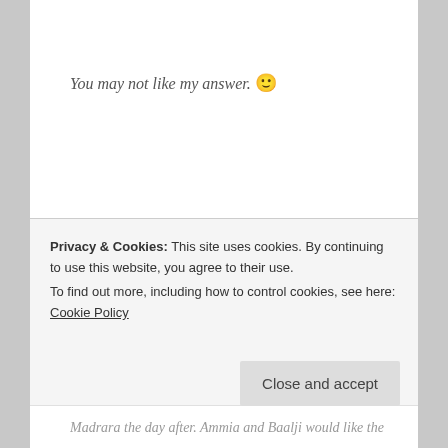You may not like my answer. 🙂
She shook her head at the latest one. Her smile returned to her face. If this was how he wanted to play it, she was ready.
Privacy & Cookies: This site uses cookies. By continuing to use this website, you agree to their use. To find out more, including how to control cookies, see here: Cookie Policy
Madrara the day after. Ammia and Baalji would like the